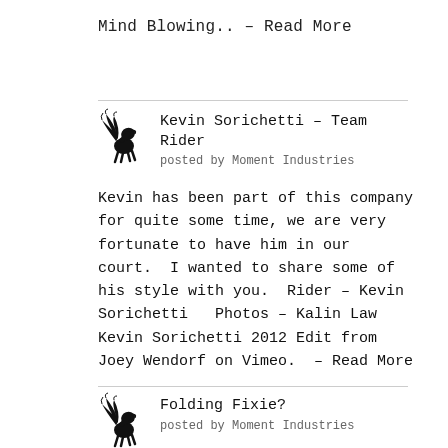Mind Blowing..  – Read More
[Figure (logo): Winged horse logo for Kevin Sorichetti post]
Kevin Sorichetti – Team Rider
posted by Moment Industries
Kevin has been part of this company for quite some time, we are very fortunate to have him in our court.  I wanted to share some of his style with you.  Rider – Kevin Sorichetti   Photos – Kalin Law Kevin Sorichetti 2012 Edit from Joey Wendorf on Vimeo.  – Read More
[Figure (logo): Winged horse logo for Folding Fixie post]
Folding Fixie?
posted by Moment Industries